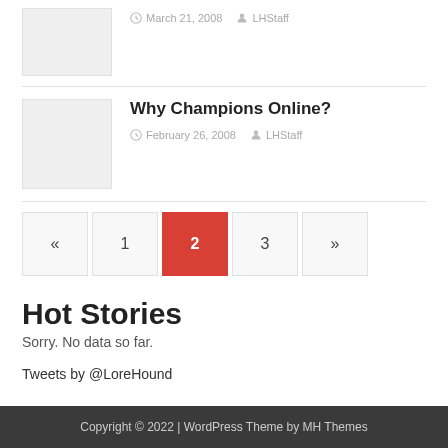[Figure (photo): Thumbnail placeholder image, light gray]
March 21, 2008   LHStaff
[Figure (photo): Thumbnail placeholder image, light gray]
Why Champions Online?
February 26, 2008   LHStaff
« 1 2 3 »
Hot Stories
Sorry. No data so far.
Tweets by @LoreHound
Copyright © 2022 | WordPress Theme by MH Themes